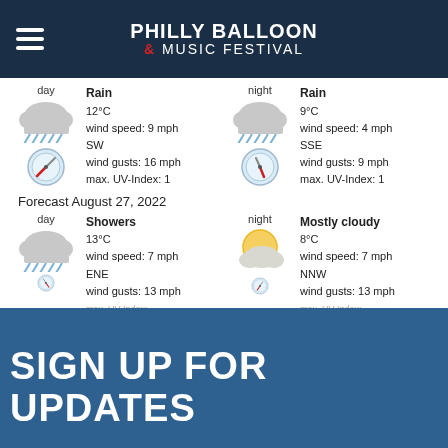PHILLY BALLOON & MUSIC FESTIVAL
day
Rain
12°C
wind speed: 9 mph
SW
wind gusts: 16 mph
max. UV-Index: 1
night
Rain
9°C
wind speed: 4 mph
SSE
wind gusts: 9 mph
max. UV-Index: 1
Forecast August 27, 2022
day
Showers
13°C
wind speed: 7 mph
ENE
wind gusts: 13 mph
night
Mostly cloudy
8°C
wind speed: 7 mph
NNW
wind gusts: 13 mph
SIGN UP FOR UPDATES